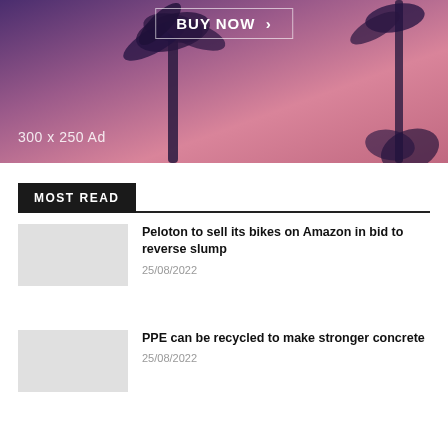[Figure (photo): Advertisement banner showing palm trees against a purple/pink sunset sky with a 'BUY NOW >' button and '300 x 250 Ad' label]
MOST READ
Peloton to sell its bikes on Amazon in bid to reverse slump
25/08/2022
PPE can be recycled to make stronger concrete
25/08/2022